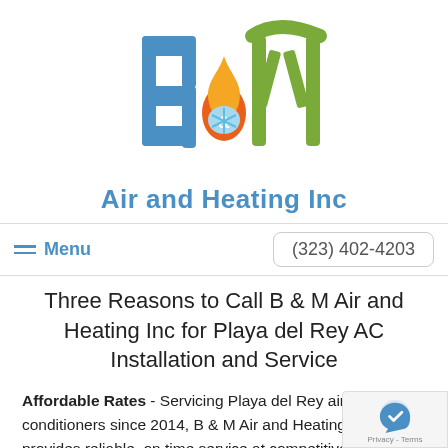[Figure (logo): B & M Air and Heating Inc logo with blue B letter, green M letter, and flame/snowflake icon in between, with text 'Air and Heating Inc' below]
Menu  (323) 402-4203
Three Reasons to Call B & M Air and Heating Inc for Playa del Rey AC Installation and Service
Affordable Rates - Servicing Playa del Rey air conditioners since 2014, B & M Air and Heating Inc provides reliable, on time service at competitive prices you can afford. From after-hours emergency service to [cut off] maintenance and initial installation, no one can deal...